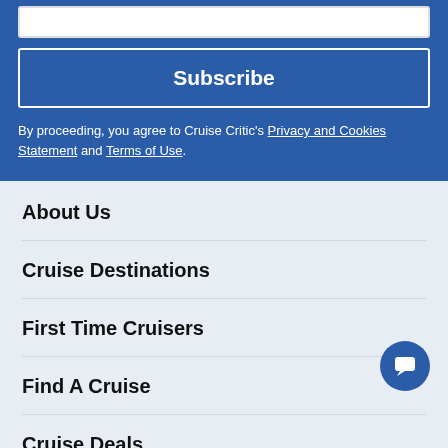[Figure (screenshot): White input bar (partial, top of blue section)]
Subscribe
By proceeding, you agree to Cruise Critic's Privacy and Cookies Statement and Terms of Use.
About Us
Cruise Destinations
First Time Cruisers
Find A Cruise
Cruise Deals
Last Minute Cruise Deals